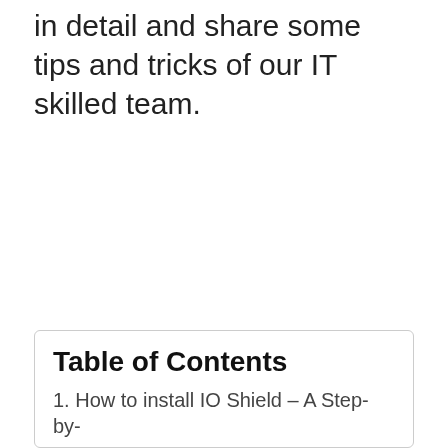in detail and share some tips and tricks of our IT skilled team.
Table of Contents
1. How to install IO Shield – A Step-by-